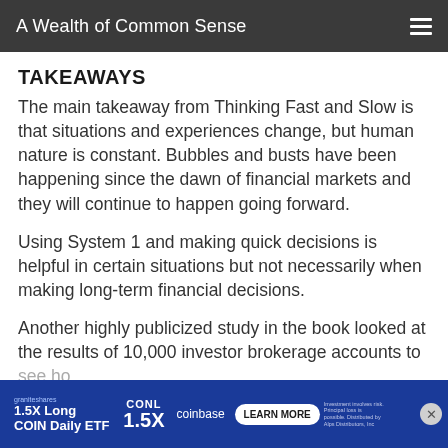A Wealth of Common Sense
TAKEAWAYS
The main takeaway from Thinking Fast and Slow is that situations and experiences change, but human nature is constant. Bubbles and busts have been happening since the dawn of financial markets and they will continue to happen going forward.
Using System 1 and making quick decisions is helpful in certain situations but not necessarily when making long-term financial decisions.
Another highly publicized study in the book looked at the results of 10,000 investor brokerage accounts to see ho... perform... 0
[Figure (other): Advertisement banner: 1.5X Long COIN Daily ETF (CONL) by GraniteShares featuring Coinbase logo with LEARN MORE button]